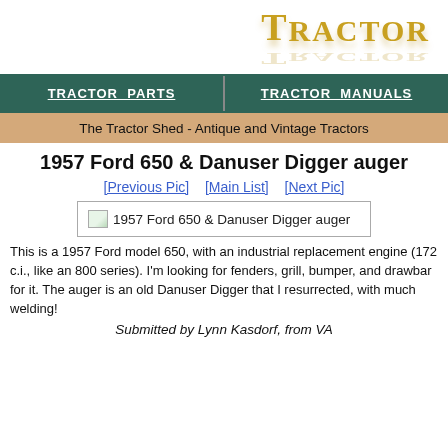[Figure (logo): TRACTOR logo in gold/amber stylized font with reflection effect, right-aligned]
| TRACTOR PARTS | TRACTOR MANUALS |
| --- | --- |
The Tractor Shed - Antique and Vintage Tractors
1957 Ford 650 & Danuser Digger auger
[Previous Pic]  [Main List]  [Next Pic]
[Figure (photo): Image placeholder labeled: 1957 Ford 650 & Danuser Digger auger]
This is a 1957 Ford model 650, with an industrial replacement engine (172 c.i., like an 800 series). I'm looking for fenders, grill, bumper, and drawbar for it. The auger is an old Danuser Digger that I resurrected, with much welding!
Submitted by Lynn Kasdorf, from VA